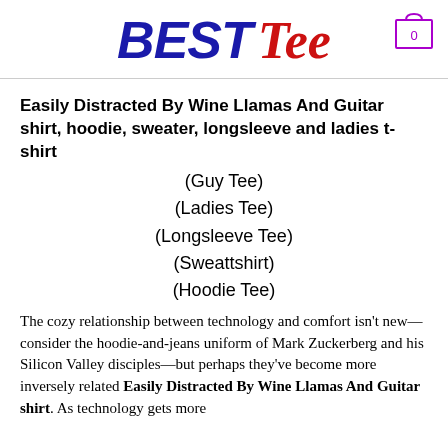BEST Tee
Easily Distracted By Wine Llamas And Guitar shirt, hoodie, sweater, longsleeve and ladies t-shirt
(Guy Tee)
(Ladies Tee)
(Longsleeve Tee)
(Sweattshirt)
(Hoodie Tee)
The cozy relationship between technology and comfort isn't new—consider the hoodie-and-jeans uniform of Mark Zuckerberg and his Silicon Valley disciples—but perhaps they've become more inversely related Easily Distracted By Wine Llamas And Guitar shirt. As technology gets more